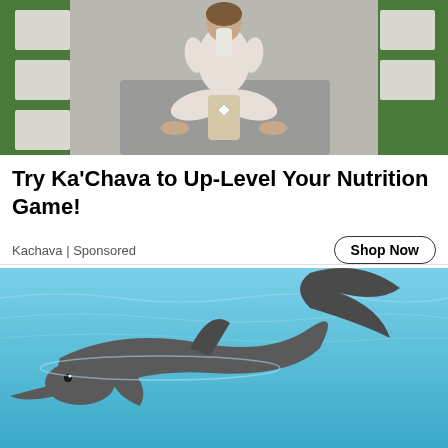[Figure (photo): Woman in white yoga outfit sitting cross-legged on yoga mat outdoors, holding a drink, with a bag of Ka'Chava supplement powder in front of her]
Try Ka'Chava to Up-Level Your Nutrition Game!
Kachava | Sponsored
[Figure (photo): Dolphin swimming in bright blue pool water, with tail fin visible above the water surface]